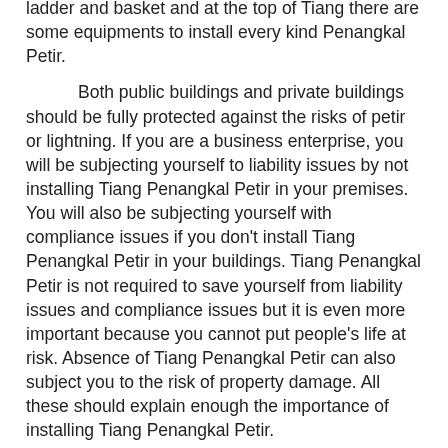ladder and basket and at the top of Tiang there are some equipments to install every kind Penangkal Petir.
Both public buildings and private buildings should be fully protected against the risks of petir or lightning. If you are a business enterprise, you will be subjecting yourself to liability issues by not installing Tiang Penangkal Petir in your premises. You will also be subjecting yourself with compliance issues if you don't install Tiang Penangkal Petir in your buildings. Tiang Penangkal Petir is not required to save yourself from liability issues and compliance issues but it is even more important because you cannot put people's life at risk. Absence of Tiang Penangkal Petir can also subject you to the risk of property damage. All these should explain enough the importance of installing Tiang Penangkal Petir.
Here are some important factors, which need to be taken into account while sourcing your Tiang Penangkal Petir. When you are selecting your Tiang to arrest Petir, you should not make your decision solely based on the prices. This is one of the major mistakes that most customers make. What is the use of having a Tiang Penangkal Petir if it does